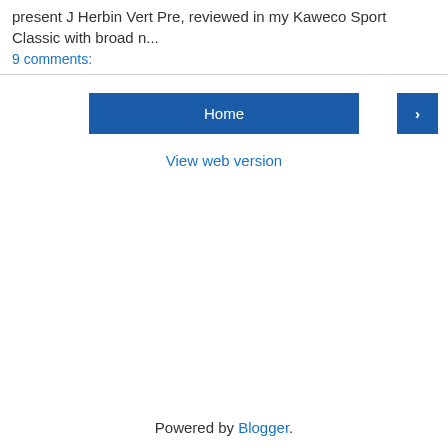present J Herbin Vert Pre, reviewed in my Kaweco Sport Classic with broad n...
9 comments:
Home
›
View web version
Powered by Blogger.